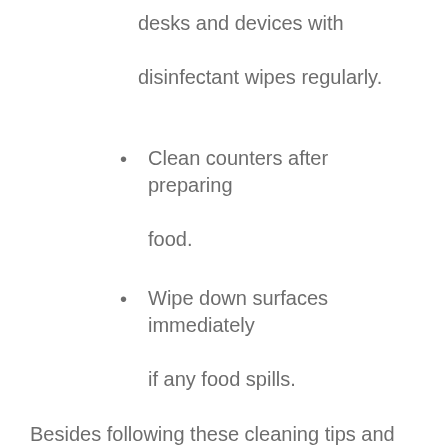desks and devices with disinfectant wipes regularly.
Clean counters after preparing food.
Wipe down surfaces immediately if any food spills.
Besides following these cleaning tips and practising good hygiene, you can support your team by providing them with sufficient hand sanitisers and encouraging social distancing. With these guidelines, you can ensure that your office is clean and safe from COVID-19. If you have questions about how to effectively clean your office or if